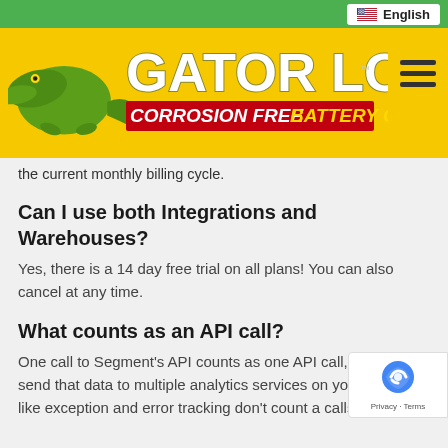English
[Figure (logo): Gator Loc - Corrosion Free Battery Connectors logo on yellow background with green alligator graphic]
the current monthly billing cycle.
Can I use both Integrations and Warehouses?
Yes, there is a 14 day free trial on all plans! You can also cancel at any time.
What counts as an API call?
One call to Segment’s API counts as one API call, even if we send that data to multiple analytics services on your Things like exception and error tracking don’t count a calls.